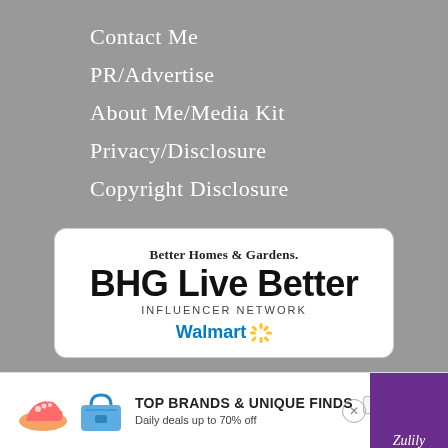Contact Me
PR/Advertise
About Me/Media Kit
Privacy/Disclosure
Copyright Disclosure
[Figure (logo): Better Homes & Gardens BHG Live Better Influencer Network powered by Walmart advertisement banner with rounded rectangle border]
[Figure (infographic): Bottom banner ad: TOP BRANDS & UNIQUE FINDS, Daily deals up to 70% off, SHOP NOW button, shoe and bag product images, Zulily branding in purple]